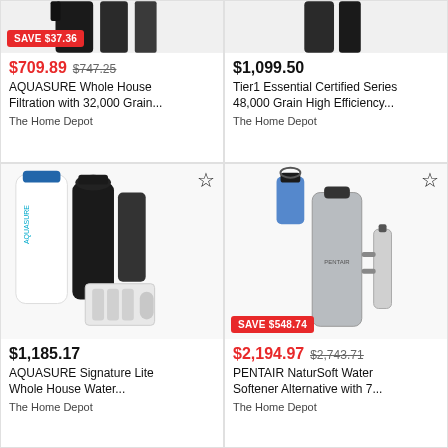[Figure (photo): Top portion of AQUASURE water filtration system product image, partially cropped. Red 'SAVE $37.36' badge at bottom left.]
$709.89  $747.25
AQUASURE Whole House Filtration with 32,000 Grain...
The Home Depot
[Figure (photo): Top portion of Tier1 Essential Certified Series water softener product image, partially cropped.]
$1,099.50
Tier1 Essential Certified Series 48,000 Grain High Efficiency...
The Home Depot
[Figure (photo): AQUASURE Signature Lite Whole House Water filtration system with multiple tanks and RO unit. Star/bookmark icon at top right.]
$1,185.17
AQUASURE Signature Lite Whole House Water...
The Home Depot
[Figure (photo): PENTAIR NaturSoft Water Softener Alternative with blue pre-filter and tall silver tank and UV unit. Red 'SAVE $548.74' badge at bottom left. Star icon top right.]
$2,194.97  $2,743.71
PENTAIR NaturSoft Water Softener Alternative with 7...
The Home Depot